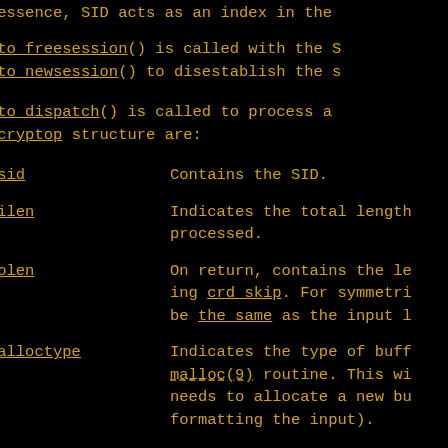(in essence, SID acts as an index in the
crypto_freesession() is called with the S crypto_newsession() to disestablish the s
crypto_dispatch() is called to process a the cryptop structure are:
crp_sid    Contains the SID.
crp_ilen   Indicates the total length processed.
crp_olen   On return, contains the le ing crd_skip. For symmetri be the same as the input l
crp_alloctype   Indicates the type of buff malloc(9) routine. This wi needs to allocate a new bu formatting the input).
crp_callback   This routine is invoked up whether successful or not. crypto_done() routine. If